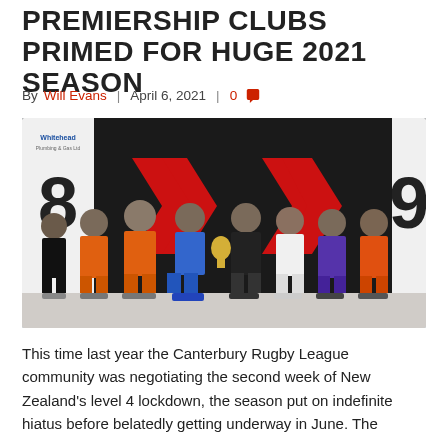PREMIERSHIP CLUBS PRIMED FOR HUGE 2021 SEASON
By Will Evans | April 6, 2021 | 0
[Figure (photo): Group photo of rugby league club representatives standing in front of branded banners with number 8 and 9, wearing different team jerseys, with a trophy in the center.]
This time last year the Canterbury Rugby League community was negotiating the second week of New Zealand's level 4 lockdown, the season put on indefinite hiatus before belatedly getting underway in June. The